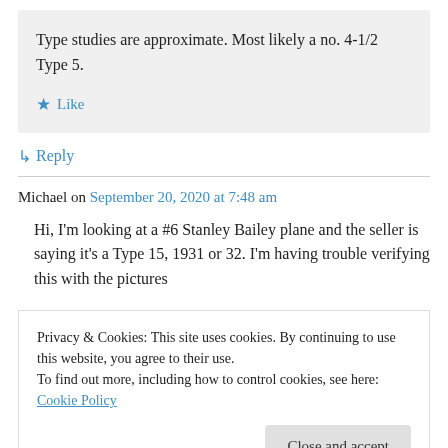Type studies are approximate. Most likely a no. 4-1/2 Type 5.
★ Like
↳ Reply
Michael on September 20, 2020 at 7:48 am
Hi, I'm looking at a #6 Stanley Bailey plane and the seller is saying it's a Type 15, 1931 or 32. I'm having trouble verifying this with the pictures
Privacy & Cookies: This site uses cookies. By continuing to use this website, you agree to their use.
To find out more, including how to control cookies, see here: Cookie Policy
Close and accept